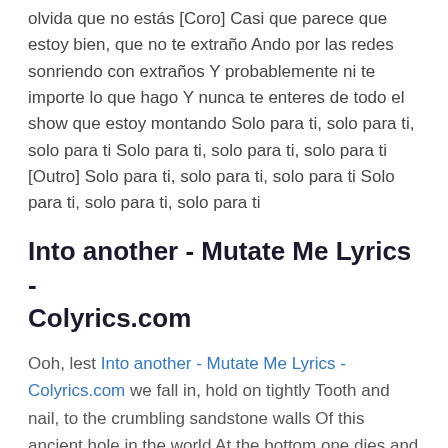olvida que no estás [Coro] Casi que parece que estoy bien, que no te extraño Ando por las redes sonriendo con extraños Y probablemente ni te importe lo que hago Y nunca te enteres de todo el show que estoy montando Solo para ti, solo para ti, solo para ti Solo para ti, solo para ti, solo para ti [Outro] Solo para ti, solo para ti, solo para ti Solo para ti, solo para ti, solo para ti
Into another - Mutate Me Lyrics - Colyrics.com
Ooh, lest Into another - Mutate Me Lyrics - Colyrics.com we fall in, hold on tightly Tooth and nail, to the crumbling sandstone walls Of this ancient hole in the world At the bottom one dies and becomes like them Undead like them Unfeeling like them Unhealing like them It will take more than love to frighten me I've had a lot of experience